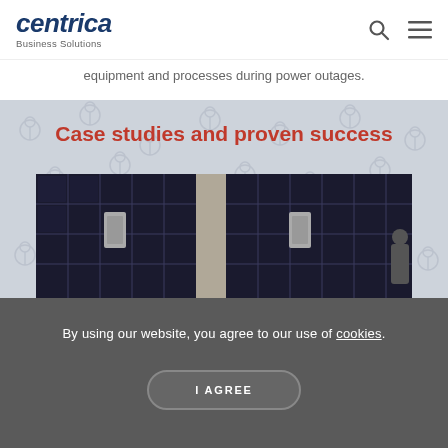centrica Business Solutions
equipment and processes during power outages.
Case studies and proven success
[Figure (photo): Aerial view of solar panels installed on a rooftop]
By using our website, you agree to our use of cookies.